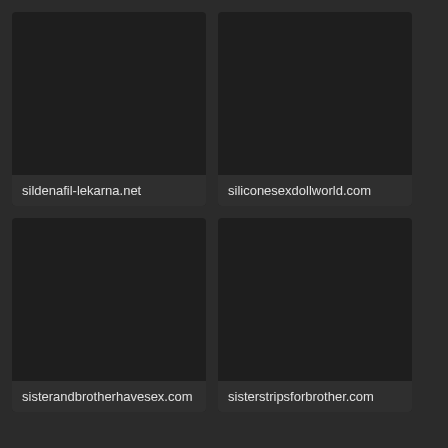[Figure (screenshot): Dark thumbnail placeholder for sildenafil-lekarna.net]
sildenafil-lekarna.net
[Figure (screenshot): Dark thumbnail placeholder for siliconesexdollworld.com]
siliconesexdollworld.com
[Figure (screenshot): Dark thumbnail placeholder for sisterandbrotherhavesex.com]
sisterandbrotherhavesex.com
[Figure (screenshot): Dark thumbnail placeholder for sisterstripsforbrother.com]
sisterstripsforbrother.com